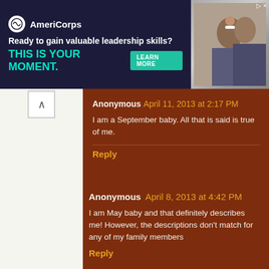[Figure (screenshot): AmeriCorps advertisement banner. Text reads 'Ready to gain valuable leadership skills? THIS IS YOUR MOMENT.' with a LEARN MORE button and a photo of people in AmeriCorps gear.]
Anonymous April 11, 2013 at 2:17 PM
I am a September baby. All that is said is true of me.
Reply
Anonymous April 8, 2013 at 4:42 PM
I am May baby and that definitely describes me! However, the descriptions don't match for any of my family members
Reply
April April 8, 2013 at 4:43 PM
April Baby :)